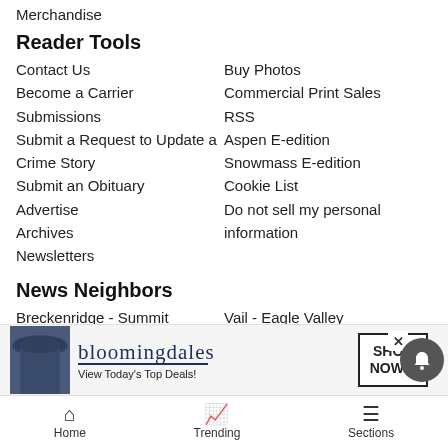Merchandise
Reader Tools
Contact Us
Buy Photos
Become a Carrier
Commercial Print Sales
Submissions
RSS
Submit a Request to Update a Crime Story
Aspen E-edition
Snowmass E-edition
Submit an Obituary
Cookie List
Advertise
Do not sell my personal information
Archives
Newsletters
News Neighbors
Breckenridge - Summit County
Vail - Eagle Valley
Craig - Moffat County
Winter Park - Granby - Grand County
Glenwood Springs - Rifle
Aspen High School - Skier
Park City
Steambo...
[Figure (screenshot): Bloomingdales advertisement banner: 'View Today's Top Deals!' with SHOP NOW button and woman in hat photo]
Home | Trending | Sections